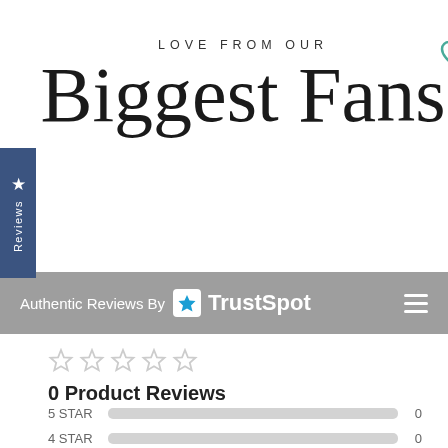[Figure (logo): Love from our Biggest Fans header with cursive script text and teal heart icon, with a Reviews tab on the left side]
Authentic Reviews By TrustSpot
0 Product Reviews
| Star Rating | Bar | Count |
| --- | --- | --- |
| 5 STAR |  | 0 |
| 4 STAR |  | 0 |